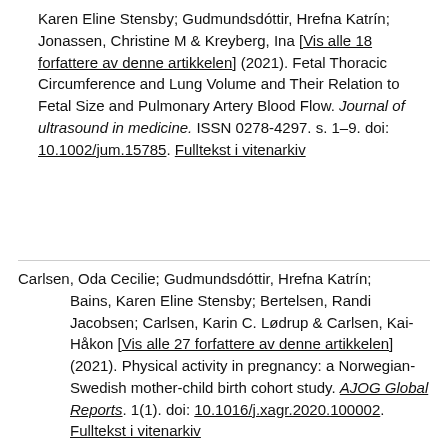Karen Eline Stensby; Gudmundsdóttir, Hrefna Katrín; Jonassen, Christine M & Kreyberg, Ina [Vis alle 18 forfattere av denne artikkelen] (2021). Fetal Thoracic Circumference and Lung Volume and Their Relation to Fetal Size and Pulmonary Artery Blood Flow. Journal of ultrasound in medicine. ISSN 0278-4297. s. 1–9. doi: 10.1002/jum.15785. Fulltekst i vitenarkiv
Carlsen, Oda Cecilie; Gudmundsdóttir, Hrefna Katrín; Bains, Karen Eline Stensby; Bertelsen, Randi Jacobsen; Carlsen, Karin C. Lødrup & Carlsen, Kai-Håkon [Vis alle 27 forfattere av denne artikkelen] (2021). Physical activity in pregnancy: a Norwegian-Swedish mother-child birth cohort study. AJOG Global Reports. 1(1). doi: 10.1016/j.xagr.2020.100002. Fulltekst i vitenarkiv